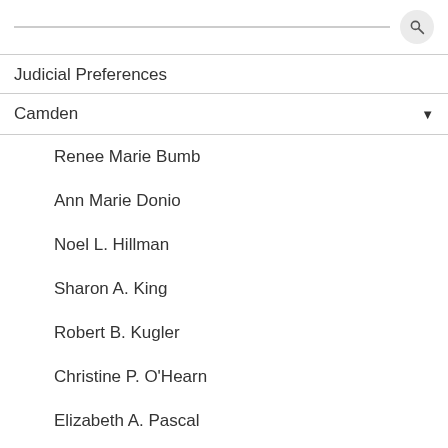Judicial Preferences
Camden
Renee Marie Bumb
Ann Marie Donio
Noel L. Hillman
Sharon A. King
Robert B. Kugler
Christine P. O'Hearn
Elizabeth A. Pascal
Joseph H. Rodriguez
Matthew J. Skahill